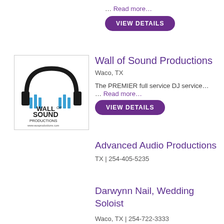… Read more…
VIEW DETAILS
Wall of Sound Productions
Waco, TX
[Figure (logo): Wall of Sound Productions logo: headphones with blue sound bars and text 'WALL of SOUND PRODUCTIONS www.wosproductions.com']
The PREMIER full service DJ service…
… Read more…
VIEW DETAILS
Advanced Audio Productions
TX | 254-405-5235
Darwynn Nail, Wedding Soloist
Waco, TX | 254-722-3333